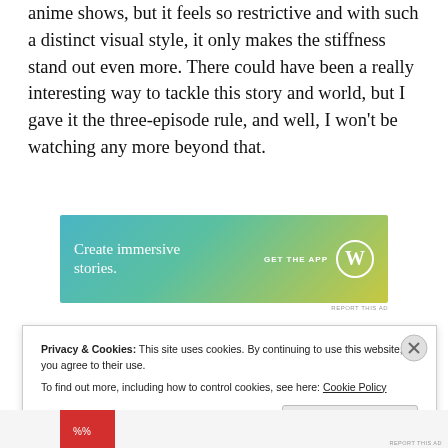anime shows, but it feels so restrictive and with such a distinct visual style, it only makes the stiffness stand out even more. There could have been a really interesting way to tackle this story and world, but I gave it the three-episode rule, and well, I won't be watching any more beyond that.
[Figure (other): WordPress advertisement banner with gradient teal-green-yellow background. Text reads 'Create immersive stories.' with 'GET THE APP' and WordPress logo on the right.]
Privacy & Cookies: This site uses cookies. By continuing to use this website, you agree to their use. To find out more, including how to control cookies, see here: Cookie Policy
Close and accept